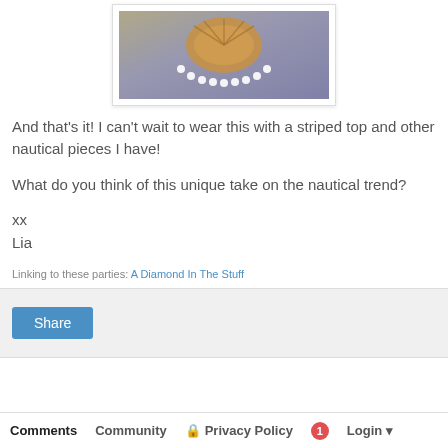[Figure (photo): A photo of a shell necklace with pearl beading on a blue-gray fabric background, displayed inside a white bordered photo frame.]
And that's it!  I can't wait to wear this with a striped top and other nautical pieces I have!
What do you think of this unique take on the nautical trend?
xx
Lia
Linking to these parties: A Diamond In The Stuff
[Figure (screenshot): A social sharing widget with a light gray background and a blue 'Share' button.]
Comments   Community   Privacy Policy   1   Login